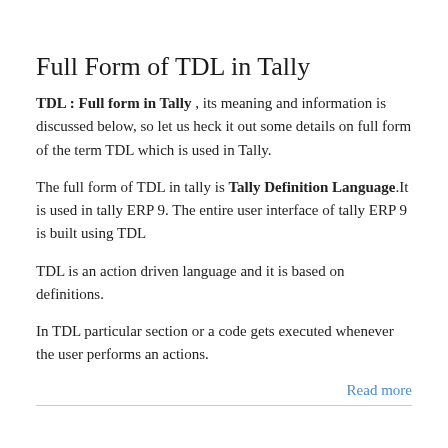Full Form of TDL in Tally
TDL : Full form in Tally , its meaning and information is discussed below, so let us heck it out some details on full form of the term TDL which is used in Tally.
The full form of TDL in tally is Tally Definition Language.It is used in tally ERP 9. The entire user interface of tally ERP 9 is built using TDL
TDL is an action driven language and it is based on definitions.
In TDL particular section or a code gets executed whenever the user performs an actions.
Read more
ABP News Full form